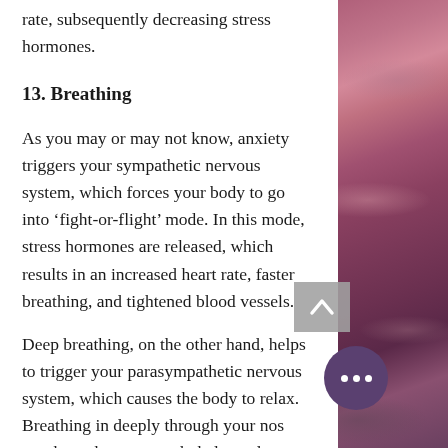rate, subsequently decreasing stress hormones.
13. Breathing
As you may or may not know, anxiety triggers your sympathetic nervous system, which forces your body to go into ‘fight-or-flight’ mode. In this mode, stress hormones are released, which results in an increased heart rate, faster breathing, and tightened blood vessels.
Deep breathing, on the other hand, helps to trigger your parasympathetic nervous system, which causes the body to relax. Breathing in deeply through your nose, out through your mouth, helps to lower